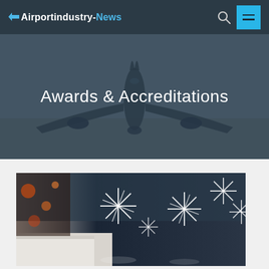Airportindustry-News
Awards & Accreditations
[Figure (photo): Interior photo showing decorative star/snowflake light fixtures hanging from the ceiling of what appears to be an airport terminal, with colorful lights in the background]